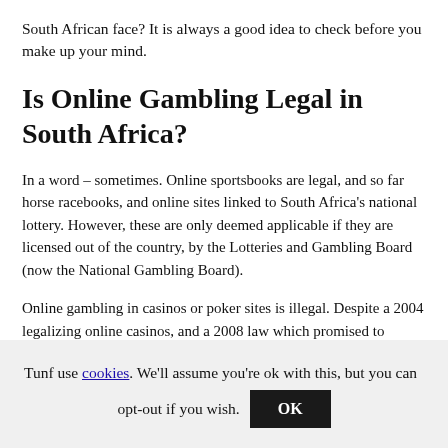South African face? It is always a good idea to check before you make up your mind.
Is Online Gambling Legal in South Africa?
In a word – sometimes. Online sportsbooks are legal, and so far horse racebooks, and online sites linked to South Africa's national lottery. However, these are only deemed applicable if they are licensed out of the country, by the Lotteries and Gambling Board (now the National Gambling Board).
Online gambling in casinos or poker sites is illegal. Despite a 2004 legalizing online casinos, and a 2008 law which promised to regulate the industry, a new bill passed in 2010 effectively outlawed all forms of internet gambling save for those mentioned above. A Court of Appeals decision saw the law upheld when it was challenged. The result was that any operator (foreign or local) would not be permitted to offer casino, card or bingo games to
Tunf use cookies. We'll assume you're ok with this, but you can opt-out if you wish. OK